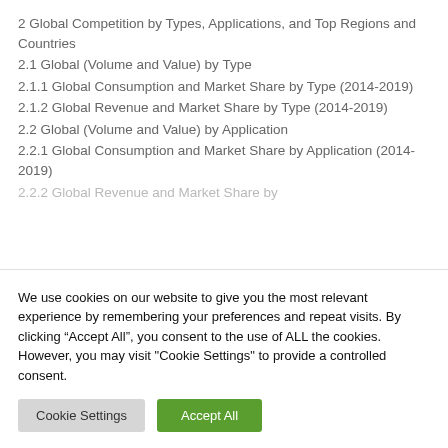2 Global Competition by Types, Applications, and Top Regions and Countries
2.1 Global (Volume and Value) by Type
2.1.1 Global Consumption and Market Share by Type (2014-2019)
2.1.2 Global Revenue and Market Share by Type (2014-2019)
2.2 Global (Volume and Value) by Application
2.2.1 Global Consumption and Market Share by Application (2014-2019)
2.2.2 Global Revenue and Market Share by...
We use cookies on our website to give you the most relevant experience by remembering your preferences and repeat visits. By clicking “Accept All”, you consent to the use of ALL the cookies. However, you may visit "Cookie Settings" to provide a controlled consent.